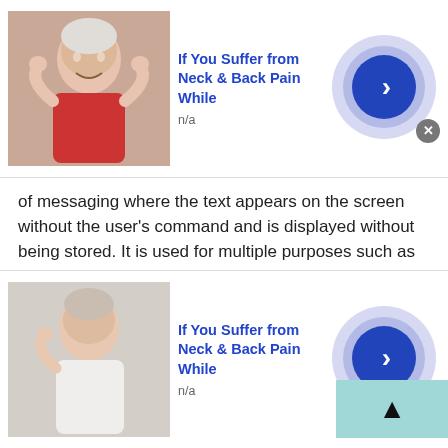[Figure (infographic): Advertisement banner at top: photo of elderly woman touching her neck/shoulders in pain, text 'If You Suffer from Neck & Back Pain While', subtext 'n/a', blue arrow button, close X button]
of messaging where the text appears on the screen without the user's command and is displayed without being stored. It is used for multiple purposes such as controlling the alarm system, one time password authentication and is famous for confidentiality.
Applications of Eritrean Texting Online
In the current time so many advanced applications of text messaging are available. Some are as follows;
[Figure (infographic): Advertisement banner at bottom: photo of person in white shirt touching neck/shoulder in pain, text 'If You Suffer from Neck & Back Pain While', subtext 'n/a', blue arrow button, close X button]